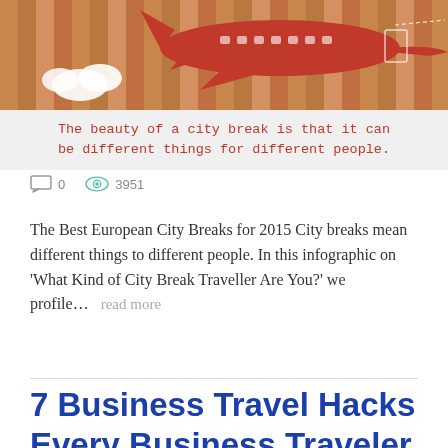[Figure (infographic): Infographic image showing a red airplane on a wooden background, with a banner below reading: 'The beauty of a city break is that it can be different things for different people.']
0   3951
The Best European City Breaks for 2015 City breaks mean different things to different people. In this infographic on ‘What Kind of City Break Traveller Are You?’ we profile…   read more
7 Business Travel Hacks Every Business Traveler Should Know